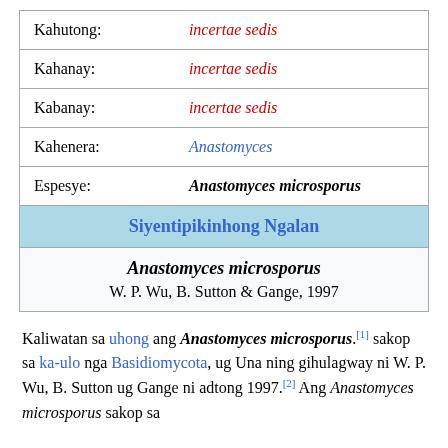| Label | Value |
| --- | --- |
| Kahutong: | incertae sedis |
| Kahanay: | incertae sedis |
| Kabanay: | incertae sedis |
| Kahenera: | Anastomyces |
| Espesye: | Anastomyces microsporus |
| Siyentipikinhong Ngalan |  |
|  | Anastomyces microsporus / W. P. Wu, B. Sutton & Gange, 1997 |
Kaliwatan sa uhong ang Anastomyces microsporus.[1] sakop sa ka-ulo nga Basidiomycota, ug Una ning gihulagway ni W. P. Wu, B. Sutton ug Gange ni adtong 1997.[2] Ang Anastomyces microsporus sakop sa